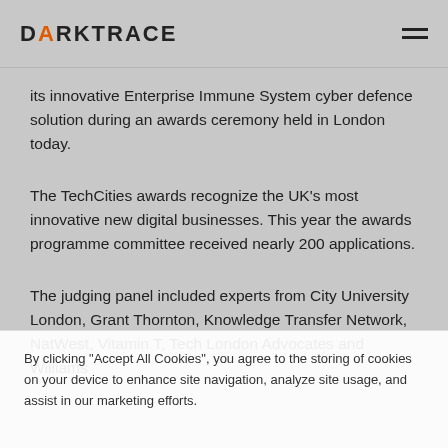DARKTRACE
its innovative Enterprise Immune System cyber defence solution during an awards ceremony held in London today.
The TechCities awards recognize the UK’s most innovative new digital businesses. This year the awards programme committee received nearly 200 applications.
The judging panel included experts from City University London, Grant Thornton, Knowledge Transfer Network, NatWest, Vitamin T, Tech London Advocates and Williams
By clicking “Accept All Cookies”, you agree to the storing of cookies on your device to enhance site navigation, analyze site usage, and assist in our marketing efforts.